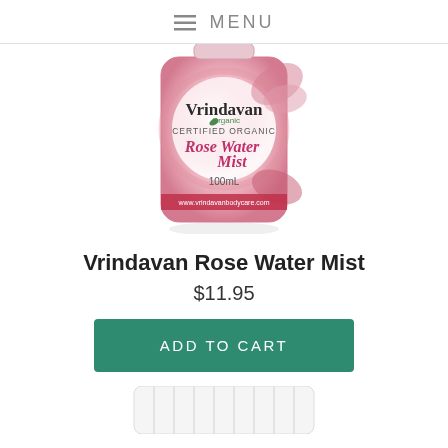≡ MENU
[Figure (photo): Vrindavan Organic Certified Organic Rose Water Mist 100mL product bottle with pink rose design label]
Vrindavan Rose Water Mist
$11.95
ADD TO CART
[Figure (photo): Bottom portion of a white pump/spray bottle cap]